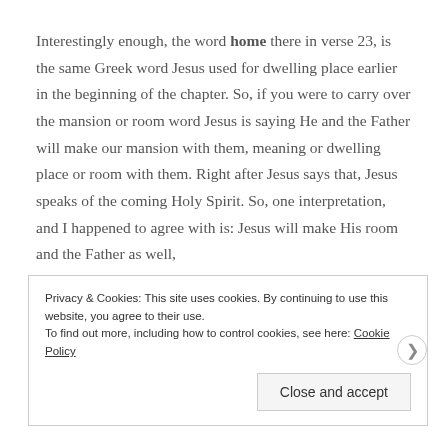Interestingly enough, the word home there in verse 23, is the same Greek word Jesus used for dwelling place earlier in the beginning of the chapter. So, if you were to carry over the mansion or room word Jesus is saying He and the Father will make our mansion with them, meaning or dwelling place or room with them. Right after Jesus says that, Jesus speaks of the coming Holy Spirit. So, one interpretation, and I happened to agree with is: Jesus will make His room and the Father as well,
Privacy & Cookies: This site uses cookies. By continuing to use this website, you agree to their use.
To find out more, including how to control cookies, see here: Cookie Policy